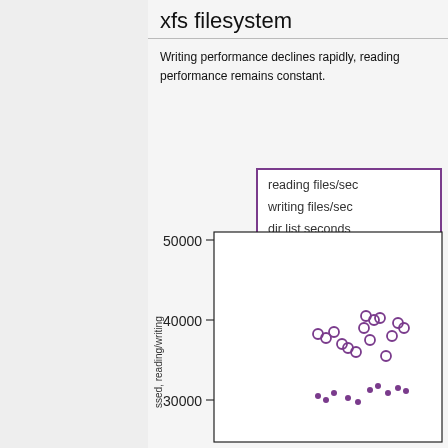xfs filesystem
Writing performance declines rapidly, reading performance remains constant.
[Figure (continuous-plot): Scatter plot showing reading files/sec, writing files/sec, and dir list seconds for xfs filesystem. Y-axis shows values from 30000 to 50000 (files processed reading/writing). Multiple purple circle markers for reading files/sec clustered around 34000-40000 range at higher x values, and smaller dots for writing files/sec around 28000-31000. Legend box shows three series: reading files/sec, writing files/sec, dir list seconds.]